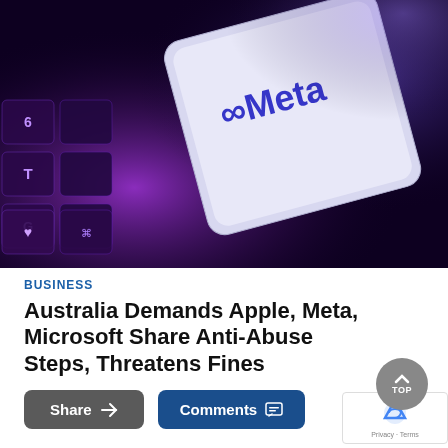[Figure (photo): A Meta-branded smartphone resting on a laptop keyboard with purple/violet backlighting]
BUSINESS
Australia Demands Apple, Meta, Microsoft Share Anti-Abuse Steps, Threatens Fines